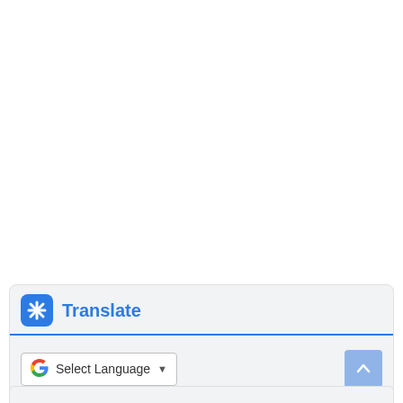[Figure (screenshot): Google Translate widget embedded in a webpage footer area. Shows a blue rounded-square icon with a cross/asterisk symbol, 'Translate' title in blue, a horizontal blue divider line, a Google 'G' logo with 'Select Language' dropdown selector, and a light blue scroll-to-top arrow button on the right.]